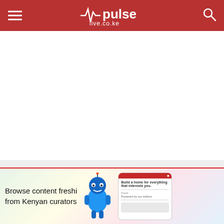pulse live.co.ke
Eyewitness? Submit your stories now via social or:
Email: news@pulselive.co.ke
[Figure (screenshot): Advertisement banner for a Kenyan content browsing app. Text reads 'Browse content freshi from Kenyan curators' with a cartoon blue robot figure and a phone screenshot.]